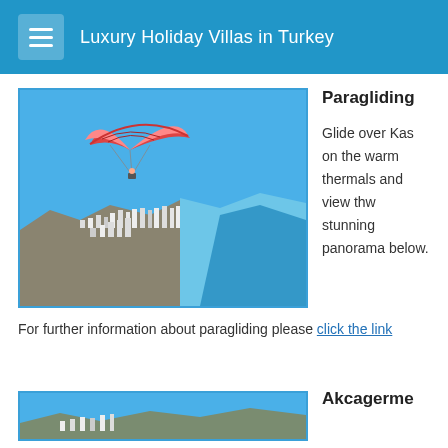Luxury Holiday Villas in Turkey
[Figure (photo): Aerial paragliding photo over Kas, Turkey, showing a paraglider with pink/white canopy soaring over the coastal town and turquoise sea.]
Paragliding
Glide over Kas on the warm thermals and view thw stunning panorama below. For further information about paragliding please click the link
[Figure (photo): Bottom partial image, likely another location photo - Akcagerme section beginning.]
Akcagerme